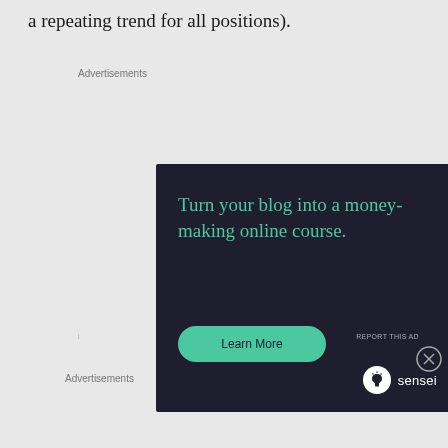a repeating trend for all positions).
Advertisements
[Figure (other): Advertisement for Sensei: dark navy background with teal text reading 'Turn your blog into a money-making online course.' with a teal 'Learn More' rounded button and Sensei logo at bottom right.]
Advertisements
[Figure (other): Advertisement for DuckDuckGo: orange left panel with white bold text 'Search, browse, and email with more privacy. All in One Free App' and dark right panel with DuckDuckGo duck logo and text 'DuckDuckGo'.]